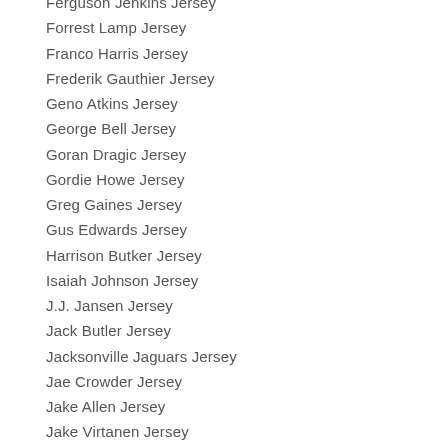Ferguson Jenkins Jersey
Forrest Lamp Jersey
Franco Harris Jersey
Frederik Gauthier Jersey
Geno Atkins Jersey
George Bell Jersey
Goran Dragic Jersey
Gordie Howe Jersey
Greg Gaines Jersey
Gus Edwards Jersey
Harrison Butker Jersey
Isaiah Johnson Jersey
J.J. Jansen Jersey
Jack Butler Jersey
Jacksonville Jaguars Jersey
Jae Crowder Jersey
Jake Allen Jersey
Jake Virtanen Jersey